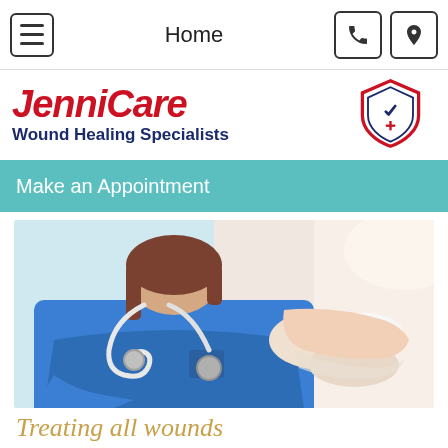Home
[Figure (logo): JenniCare Wound Healing Specialists logo with red cursive text and shield icon]
Make an Appointment
[Figure (photo): Healthcare professional in blue scrubs with stethoscope examining and bandaging a patient's hand/wrist]
Treating all wounds